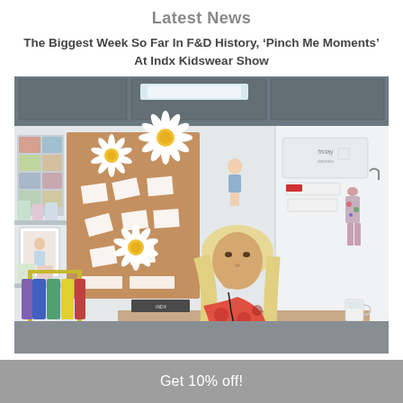Latest News
The Biggest Week So Far In F&D History, ‘Pinch Me Moments’ At Indx Kidswear Show
[Figure (photo): A woman with blonde hair wearing a floral red dress sitting at a trade show booth decorated with large paper daisies, children's clothing on display racks, a brown pinboard with cards, illustrated children's figures on white panels, and branding signage. A coffee cup is on the table in front of her.]
Get 10% off!